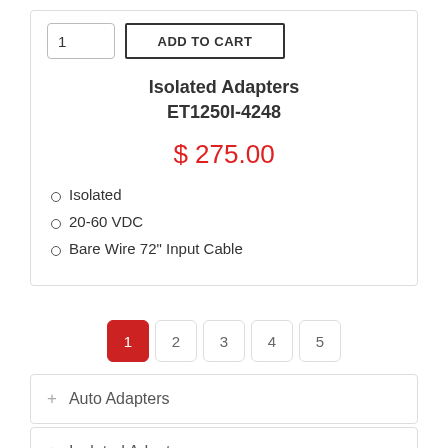1
ADD TO CART
Isolated Adapters
ET1250I-4248
$ 275.00
Isolated
20-60 VDC
Bare Wire 72" Input Cable
1 2 3 4 5
+ Auto Adapters
+ Isolated Adapters